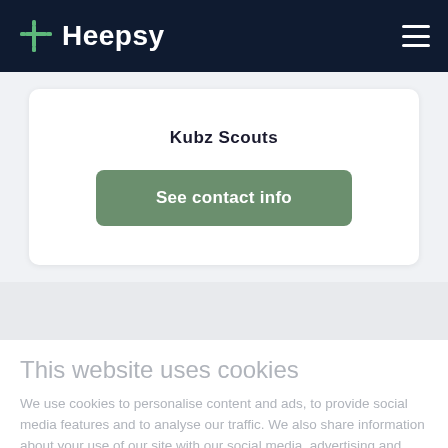Heepsy
Kubz Scouts
See contact info
This website uses cookies
We use cookies to personalise content and ads, to provide social media features and to analyse our traffic. We also share information about your use of our site with our social media, advertising and analytics partners who may combine it with other information that you've provided to